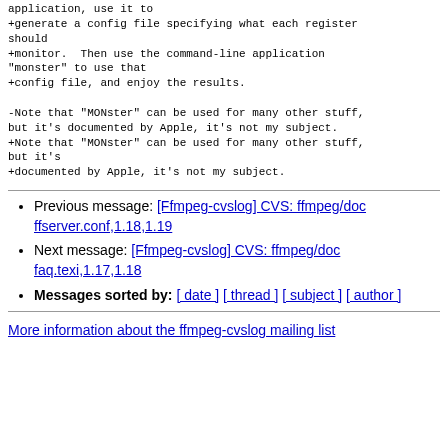application, use it to +generate a config file specifying what each register should +monitor. Then use the command-line application "monster" to use that +config file, and enjoy the results.

-Note that "MONster" can be used for many other stuff, but it's documented by Apple, it's not my subject. +Note that "MONster" can be used for many other stuff, but it's +documented by Apple, it's not my subject.
Previous message: [Ffmpeg-cvslog] CVS: ffmpeg/doc ffserver.conf,1.18,1.19
Next message: [Ffmpeg-cvslog] CVS: ffmpeg/doc faq.texi,1.17,1.18
Messages sorted by: [ date ] [ thread ] [ subject ] [ author ]
More information about the ffmpeg-cvslog mailing list